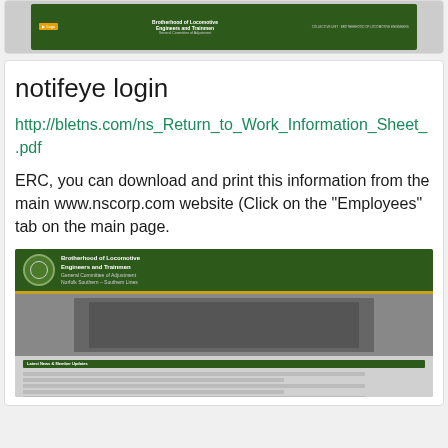[Figure (screenshot): Screenshot of Brotherhood of Locomotive Engineers and Trainmen website header with green background, logo, and navigation elements]
notifeye login
http://bletns.com/ns_Return_to_Work_Information_Sheet_.pdf
ERC, you can download and print this information from the main www.nscorp.com website (Click on the "Employees" tab on the main page.
[Figure (screenshot): Screenshot of Brotherhood of Locomotive Engineers and Trainmen website showing header, train image, and content listing with green bars]